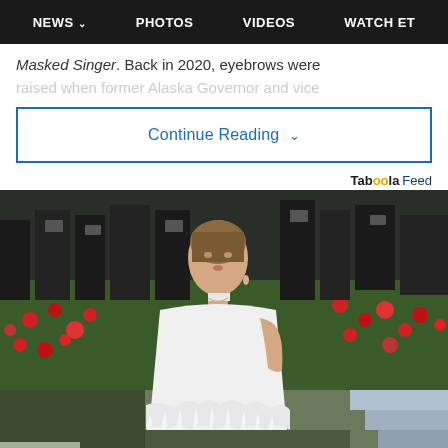NEWS   PHOTOS   VIDEOS   WATCH ET
Masked Singer. Back in 2020, eyebrows were raised when former Alaska Governor and vice
Continue Reading  ˅
Taboola Feed
[Figure (photo): A woman in a white halter gown with feather trim posing at what appears to be the Met Gala, with photographers and floral hedge backdrop behind her.]